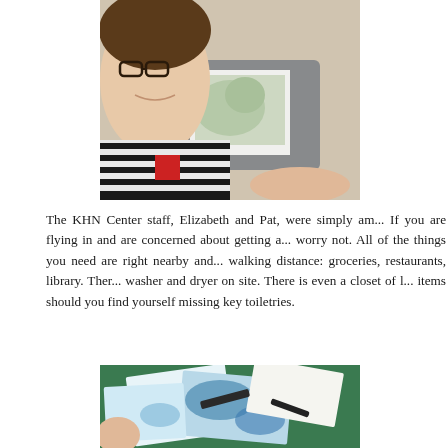[Figure (photo): A woman wearing glasses and a black-and-white striped shirt taking a selfie, with a drawing board or sketchpad on a table visible behind her.]
The KHN Center staff, Elizabeth and Pat, were simply am... If you are flying in and are concerned about getting a... worry not. All of the things you need are right nearby and... walking distance: groceries, restaurants, library. Ther... washer and dryer on site. There is even a closet of l... items should you find yourself missing key toiletries.
[Figure (photo): Close-up of hands working on paper with blue paint or ink, with various art materials scattered on a green surface.]